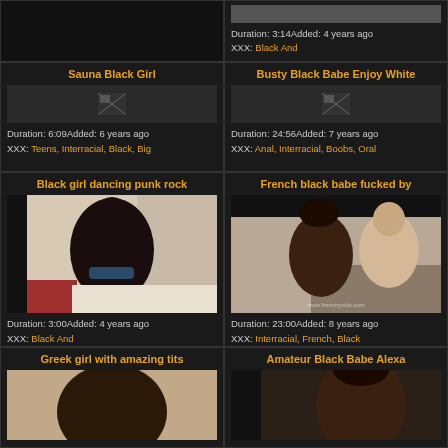[Figure (screenshot): Top partial row: left cell is dark/empty, right cell shows partial video thumbnail with duration and tags]
Duration: 3:14Added: 4 years ago
XXX: Black And
Sauna Black Girl
[Figure (screenshot): Small broken image icon thumbnail for Sauna Black Girl]
Duration: 6:09Added: 6 years ago
XXX: Teens, Interracial, Black, Big
Busty Black Babe Enjoy White
[Figure (screenshot): Small broken image icon thumbnail for Busty Black Babe]
Duration: 24:56Added: 7 years ago
XXX: Anal, Interracial, Boobs, Oral
Black girl dancing punk rock
[Figure (photo): Video thumbnail showing dark-skinned woman dancing]
Duration: 3:00Added: 4 years ago
XXX: Black And
French black babe fucked by
[Figure (photo): Video thumbnail showing couple kissing, watermark www.frenchyvids.com]
Duration: 23:00Added: 8 years ago
XXX: Interracial, French, Black
Greek girl with amazing tits
[Figure (photo): Partial video thumbnail at bottom]
Amateur Black Babe Alexa
[Figure (photo): Partial video thumbnail at bottom]